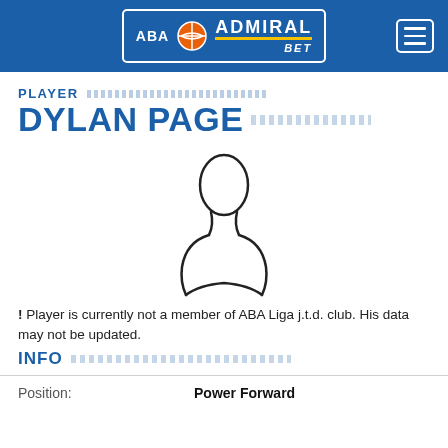ABA AdmiralBet
PLAYER
DYLAN PAGE
[Figure (illustration): Silhouette outline of a person (no photo placeholder)]
! Player is currently not a member of ABA Liga j.t.d. club. His data may not be updated.
INFO
|  |  |
| --- | --- |
| Position: | Power Forward |